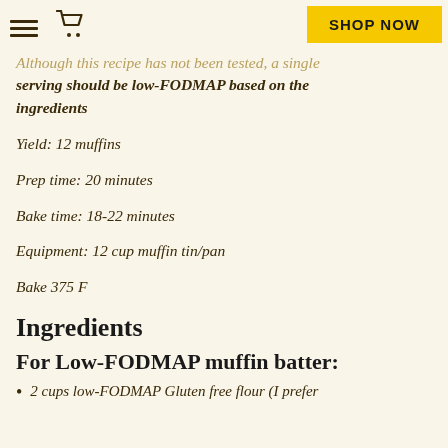Shop Now
Although this recipe has not been tested, a single serving should be low-FODMAP based on the ingredients
Yield: 12 muffins
Prep time: 20 minutes
Bake time: 18-22 minutes
Equipment: 12 cup muffin tin/pan
Bake 375 F
Ingredients
For Low-FODMAP muffin batter:
2 cups low-FODMAP Gluten free flour (I prefer